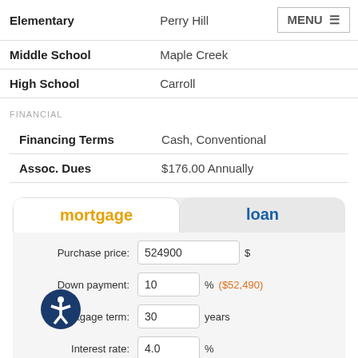|  |  |  |
| --- | --- | --- |
| Elementary | Perry Hill | MENU ≡ |
| Middle School | Maple Creek |  |
| High School | Carroll |  |
FINANCIAL
|  |  |
| --- | --- |
| Financing Terms | Cash, Conventional |
| Assoc. Dues | $176.00 Annually |
[Figure (screenshot): Mortgage/loan calculator widget with tabs for 'mortgage' (active, orange) and 'loan' (blue). Fields: Purchase price: 524900 $, Down payment: 10 % ($52,490), Mortgage term: 30 years, Interest rate: 4.0 %, and a partially visible row.]